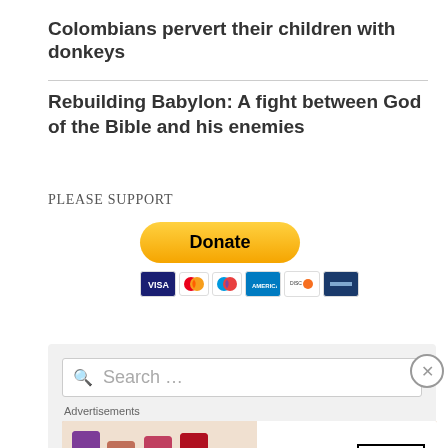Colombians pervert their children with donkeys
Rebuilding Babylon: A fight between God of the Bible and his enemies
PLEASE SUPPORT
[Figure (other): PayPal Donate button with yellow rounded rectangle and credit card icons below (Visa, Mastercard, Maestro, Amex, Discover, credit card)]
[Figure (screenshot): Search box with magnifying glass icon and placeholder text 'Search ...' with a close X button, followed by Advertisements label and MAC cosmetics ad banner with lipsticks and SHOP NOW box]